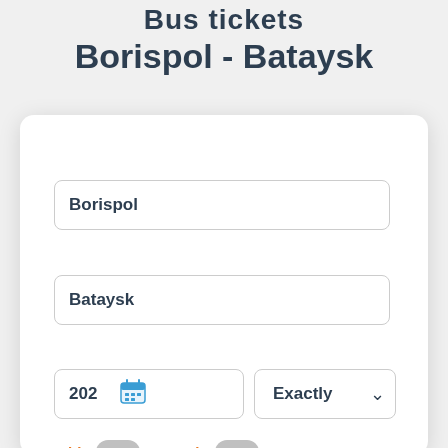Bus tickets Borispol - Bataysk
[Figure (screenshot): Mobile app search form with fields for departure city (Borispol), destination city (Bataysk), date input with calendar icon showing '202', an 'Exactly' dropdown, and toggle switches labeled 'With' and 'Both']